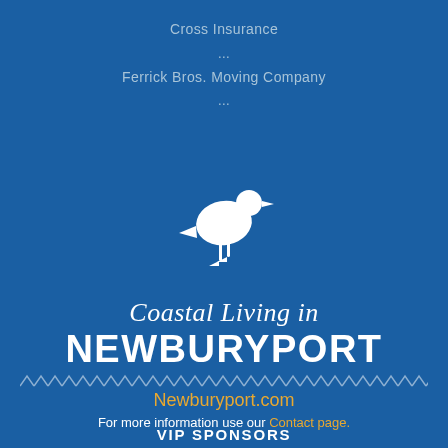Cross Insurance
...
Ferrick Bros. Moving Company
...
[Figure (illustration): White silhouette of a seagull/shorebird on blue background]
Coastal Living in NEWBURYPORT
Newburyport.com
For more information use our Contact page.
VIP SPONSORS